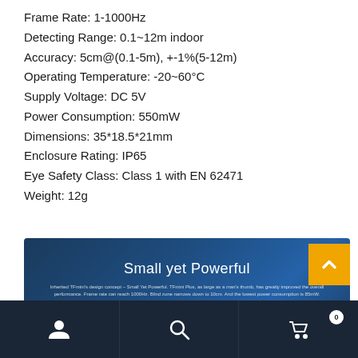Frame Rate: 1-1000Hz
Detecting Range: 0.1~12m indoor
Accuracy: 5cm@(0.1-5m), +-1%(5-12m)
Operating Temperature: -20~60°C
Supply Voltage: DC 5V
Power Consumption: 550mW
Dimensions: 35*18.5*21mm
Enclosure Rating: IP65
Eye Safety Class: Class 1 with EN 62471
Weight: 12g
[Figure (infographic): Dark blue product banner with 'Small yet Powerful' title and product specifications stats: 0.1m-12m Operating Range, 1Hz-1000Hz Frame Rate, 1% Accuracy, 85mW-550mW Power Consumption, -20°-60° Operating Temperature, 11g Weight]
[Figure (other): Bottom navigation bar with user icon, search icon, and shopping cart icon with badge showing 0]